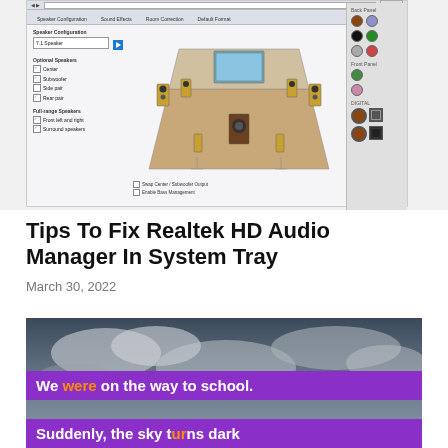[Figure (screenshot): Screenshot of Realtek HD Audio Manager showing Speaker Configuration panel with 7.1 Speaker setup, a 3D room diagram with speakers, optional speaker checkboxes, and Back Panel/Front Panel/DIGITAL connectors on the right side.]
Tips To Fix Realtek HD Audio Manager In System Tray
March 30, 2022
[Figure (photo): Dark stormy sky background with two purple banner overlays. First banner reads: 'We were on the way to school.' with 'were' in orange. Second banner reads: 'Suddenly, the sky turns dark' with 'turns' partially visible and in orange.]